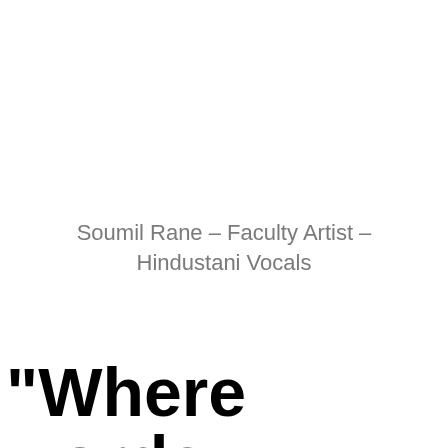Soumil Rane – Faculty Artist – Hindustani Vocals
"Where words